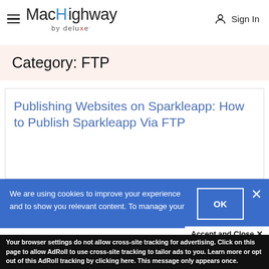[Figure (logo): MacHighway by deluxe logo with hamburger menu icon on left and Sign In icon on right]
Category: FTP
Publishing Websites on Sparkleapp: How to Publish Sparkleapp Via FTP
We are using cookies to improve your experience and to show you relevant content. To manage your
Accept and Close ✕
Your browser settings do not allow cross-site tracking for advertising. Click on this page to allow AdRoll to use cross-site tracking to tailor ads to you. Learn more or opt out of this AdRoll tracking by clicking here. This message only appears once.